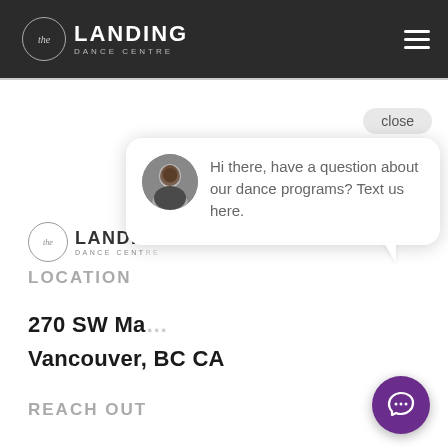[Figure (logo): The Landing Dance Centre logo — circle with 'the' in script inside, beside 'LANDING' in bold with 'DANCE CENTRE' below in spaced capitals. White text on dark background.]
[Figure (logo): The Landing Dance Centre secondary logo in black/grey, partially obscured by chat overlay.]
LOCATION
270 SW Ma...
Vancouver, BC CA
REACH OUT
[Figure (screenshot): Chat widget overlay with close button, avatar photo of a woman, and message: 'Hi there, have a question about our dance programs? Text us here.' Purple chat icon button in lower right.]